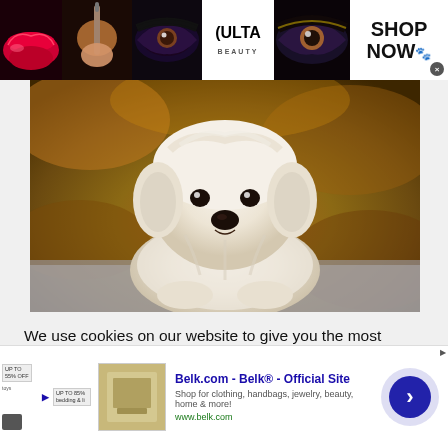[Figure (screenshot): Ulta Beauty advertisement banner with beauty/makeup images and SHOP NOW call to action]
[Figure (photo): White fluffy small dog (Maltese) lying on a surface with blurred autumn background]
We use cookies on our website to give you the most relevant experience by remembering your preferences and repeat visits. By clicking “Accept,” you consent to the use of ALL the
[Figure (screenshot): Belk.com advertisement - Belk® - Official Site. Shop for clothing, handbags, jewelry, beauty, home & more! www.belk.com]